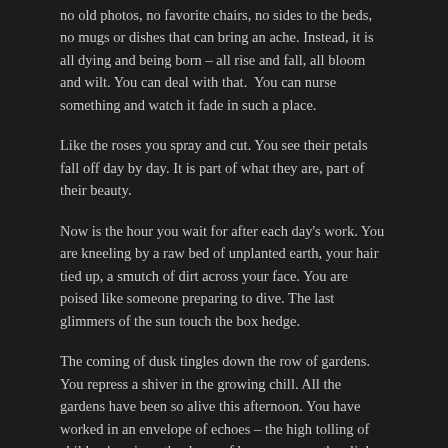no old photos, no favorite chairs, no sides to the beds, no mugs or dishes that can bring an ache. Instead, it is all dying and being born – all rise and fall, all bloom and wilt. You can deal with that.  You can nurse something and watch it fade in such a place.
Like the roses you spray and cut. You see their petals fall off day by day. It is part of what they are, part of their beauty.
Now is the hour you wait for after each day's work. You are kneeling by a raw bed of unplanted earth, your hair tied up, a smutch of dirt across your face. You are poised like someone preparing to dive. The last glimmers of the sun touch the box hedge.
The coming of dusk tingles down the row of gardens. You repress a shiver in the growing chill. All the gardens have been so alive this afternoon. You have worked in an envelope of echoes – the high tolling of children's voices, the drone of lawn mowers, the clink of glasses